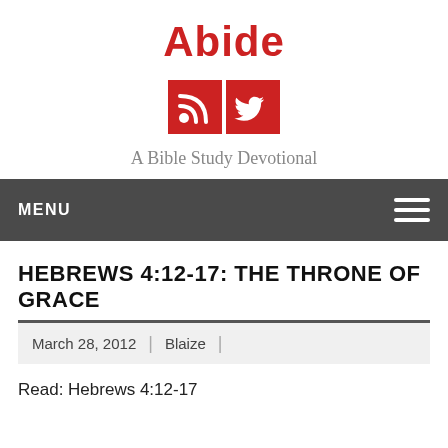Abide
[Figure (infographic): Two red square social media icons: RSS feed icon and Twitter bird icon]
A Bible Study Devotional
MENU
HEBREWS 4:12-17: THE THRONE OF GRACE
March 28, 2012 | Blaize |
Read: Hebrews 4:12-17